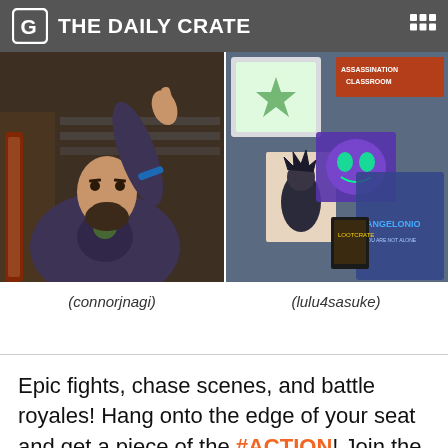THE DAILY CRATE
[Figure (photo): Left photo: man with beard pointing finger upward, wearing a dark t-shirt with anime graphic, guitar visible in background. Username: (connorjnagi)]
[Figure (photo): Right photo: anime merchandise spread including clothing, mask, and illustrated art. Username: (lulu4sasuke)]
(connorjnagi)
(lulu4sasuke)
Epic fights, chase scenes, and battle royales! Hang onto the edge of your seat and get a piece of the #ACTION! Join the fray of fun.